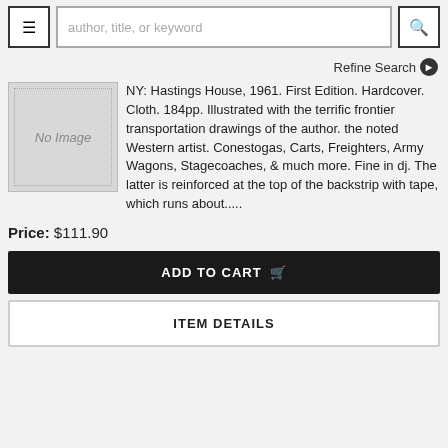author, title, or keyword
Refine Search
[Figure (photo): No Image placeholder box]
NY: Hastings House, 1961. First Edition. Hardcover. Cloth. 184pp. Illustrated with the terrific frontier transportation drawings of the author. the noted Western artist. Conestogas, Carts, Freighters, Army Wagons, Stagecoaches, & much more. Fine in dj. The latter is reinforced at the top of the backstrip with tape, which runs about.....
Price: $111.90
ADD TO CART
ITEM DETAILS